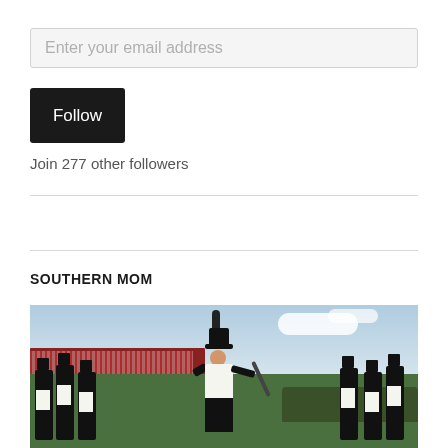Enter your email address
Follow
Join 277 other followers
SOUTHERN MOM
[Figure (photo): Marching band members in black and white uniforms with tall black hats performing on a football field, with stadium stands and trees visible in the background under a partly cloudy sky.]